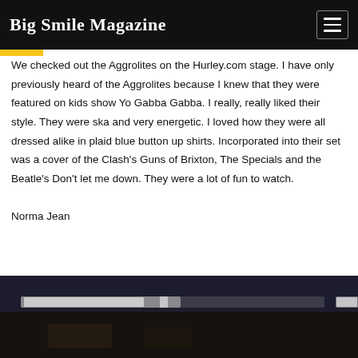Big Smile Magazine
We checked out the Aggrolites on the Hurley.com stage. I have only previously heard of the Aggrolites because I knew that they were featured on kids show Yo Gabba Gabba. I really, really liked their style. They were ska and very energetic. I loved how they were all dressed alike in plaid blue button up shirts. Incorporated into their set was a cover of the Clash's Guns of Brixton, The Specials and the Beatle's Don't let me down. They were a lot of fun to watch.

Norma Jean
[Figure (photo): Dark photograph showing what appears to be a stage or venue interior with a horizontal light bar or banner visible against a dark background.]